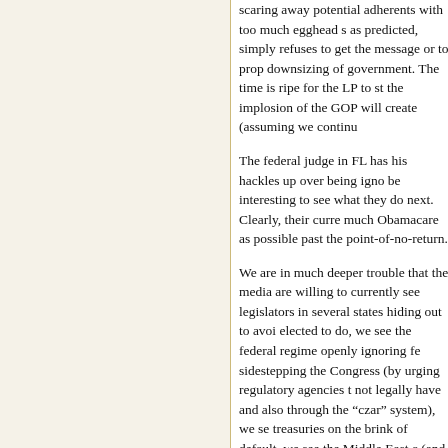scaring away potential adherents with too much egghead s as predicted, simply refuses to get the message or to prop downsizing of government. The time is ripe for the LP to st the implosion of the GOP will create (assuming we continu
The federal judge in FL has his hackles up over being igno be interesting to see what they do next. Clearly, their curre much Obamacare as possible past the point-of-no-return.
We are in much deeper trouble that the media are willing to currently see legislators in several states hiding out to avoi elected to do, we see the federal regime openly ignoring fe sidestepping the Congress (by urging regulatory agencies t not legally have and also through the “czar” system), we se treasuries on the brink of default, we see the Middle East c (and heading toward a consolidated Islamic Republic), we crisis when our own country could be virtually self-sufficien be, we see widening voids between the producers and the and private workers, and we see our beloved nation becom police state every day — with the very real probability of a future. All this looks more and more like a voluntary march
For the leaders of the LP to stay firmly mounted on their hig goes on is unbelievable to me. I’m beginning to suspect the doers.
Can’t we libertarians understand that one must get a little d mess?
Troy